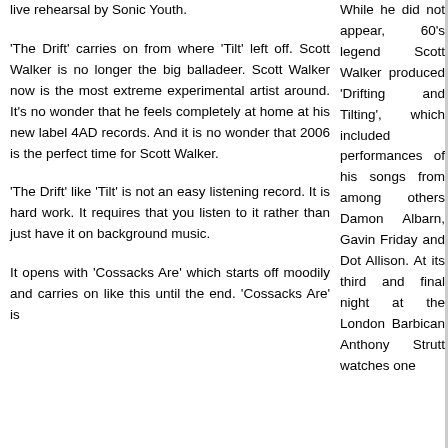live rehearsal by Sonic Youth.
'The Drift' carries on from where 'Tilt' left off. Scott Walker is no longer the big balladeer. Scott Walker now is the most extreme experimental artist around. It's no wonder that he feels completely at home at his new label 4AD records. And it is no wonder that 2006 is the perfect time for Scott Walker.
'The Drift' like 'Tilt' is not an easy listening record. It is hard work. It requires that you listen to it rather than just have it on background music.
It opens with 'Cossacks Are' which starts off moodily and carries on like this until the end. 'Cossacks Are' is
While he did not appear, 60's legend Scott Walker produced 'Drifting and Tilting', which included performances of his songs from among others Damon Albarn, Gavin Friday and Dot Allison. At its third and final night at the London Barbican Anthony Strutt watches one